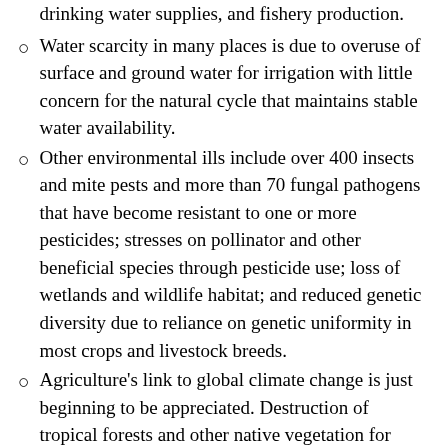drinking water supplies, and fishery production.
Water scarcity in many places is due to overuse of surface and ground water for irrigation with little concern for the natural cycle that maintains stable water availability.
Other environmental ills include over 400 insects and mite pests and more than 70 fungal pathogens that have become resistant to one or more pesticides; stresses on pollinator and other beneficial species through pesticide use; loss of wetlands and wildlife habitat; and reduced genetic diversity due to reliance on genetic uniformity in most crops and livestock breeds.
Agriculture's link to global climate change is just beginning to be appreciated. Destruction of tropical forests and other native vegetation for agricultural production has a role in elevated levels of carbon dioxide and other greenhouse gases. Recent studies have found that soils may be sources or sinks for